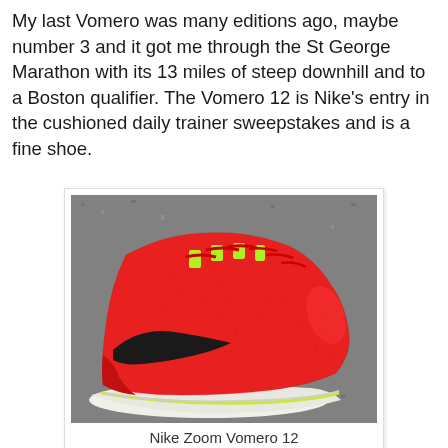My last Vomero was many editions ago, maybe number 3 and it got me through the St George Marathon with its 13 miles of steep downhill and to a Boston qualifier. The Vomero 12 is Nike's entry in the cushioned daily trainer sweepstakes and is a fine shoe.
[Figure (photo): Close-up photo of a red Nike Zoom Vomero 12 running shoe with neon green accents, black swoosh, and white/volt midsole, photographed on a gray carpet background.]
Nike Zoom Vomero 12